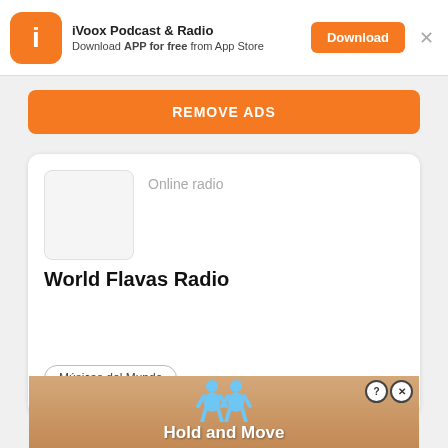[Figure (screenshot): iVoox app banner with orange icon showing letter i, app name, subtitle, Download button, and close X]
iVoox Podcast & Radio
Download APP for free from App Store
REMOVE ADS
Online radio
World Flavas Radio
Músicas del Mundo
[Figure (screenshot): Bottom advertisement banner showing two blue cartoon figures and text 'Hold and Move' with help and close buttons]